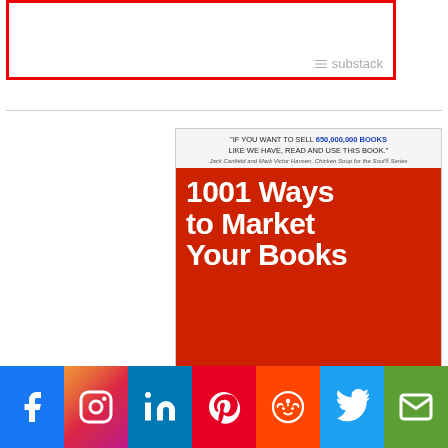[Figure (screenshot): Substack subscription box with red border and Substack watermark logo in bottom right]
[Figure (photo): Book cover: '1001 Ways to Market Your Books - Real World Edition' with quote from Jack Canfield and Mark Victor Hansen about selling 650,000,000 books]
[Figure (infographic): Social media sharing bar with icons for Facebook, Instagram, LinkedIn, Pinterest, Reddit, Twitter, and Email]